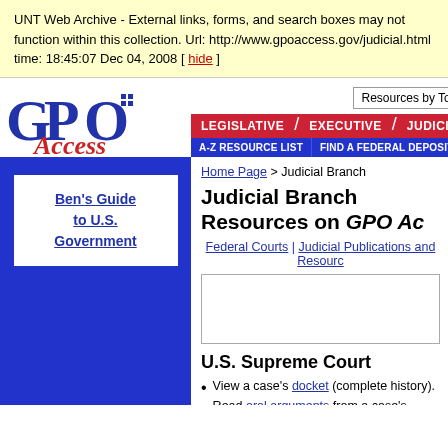UNT Web Archive - External links, forms, and search boxes may not function within this collection. Url: http://www.gpoaccess.gov/judicial.html time: 18:45:07 Dec 04, 2008 [ hide ]
[Figure (logo): GPO Access logo with red italic 'Access' text and blue 'GPO' letters]
Resources by Topic [dropdown]
Legislative | Executive | Judicial
A-Z Resource List | Find A Federal Depository Library
Ben's Guide to U.S. Government
Home Page > Judicial Branch
Judicial Branch Resources on GPO Access
Federal Courts | Judicial Publications and Resources
U.S. Supreme Court
View a case's docket (complete history).
Read oral arguments from a case's lawyers.
Locate opinions and slip opinions from the
Read the official minutes of the Court in t
Locate decisions from 1937-75 and 1992-